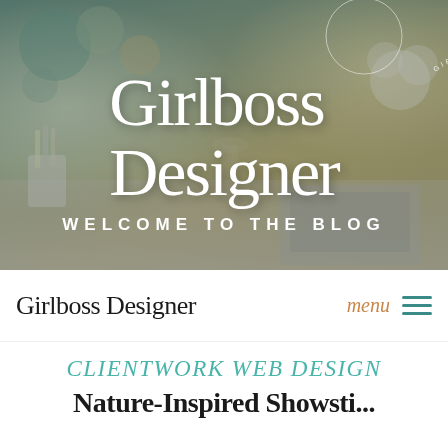[Figure (photo): Hero banner photo of a styled desk workspace with champagne glass, laptop, flowers, gold stationery, and colorful circular mood board items. Overlay text shows 'Girlboss Designer' in large serif font and 'WELCOME TO THE BLOG' in spaced caps. A circular badge logo reading 'GIRLBOSS DESIGNER' appears top right.]
Girlboss Designer
WELCOME TO THE BLOG
Girlboss Designer   menu ≡
CLIENTWORK WEB DESIGN
Nature-Inspired Showsti...